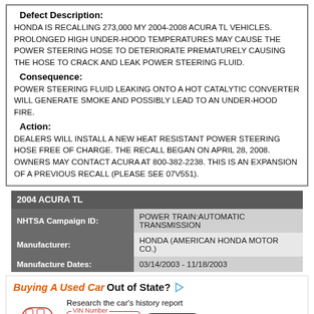Defect Description:
HONDA IS RECALLING 273,000 MY 2004-2008 ACURA TL VEHICLES. PROLONGED HIGH UNDER-HOOD TEMPERATURES MAY CAUSE THE POWER STEERING HOSE TO DETERIORATE PREMATURELY CAUSING THE HOSE TO CRACK AND LEAK POWER STEERING FLUID.
Consequence:
POWER STEERING FLUID LEAKING ONTO A HOT CATALYTIC CONVERTER WILL GENERATE SMOKE AND POSSIBLY LEAD TO AN UNDER-HOOD FIRE.
Action:
DEALERS WILL INSTALL A NEW HEAT RESISTANT POWER STEERING HOSE FREE OF CHARGE. THE RECALL BEGAN ON APRIL 28, 2008. OWNERS MAY CONTACT ACURA AT 800-382-2238. THIS IS AN EXPANSION OF A PREVIOUS RECALL (PLEASE SEE 07V551).
| 2004 ACURA TL |  |
| --- | --- |
| NHTSA Campaign ID: | POWER TRAIN:AUTOMATIC TRANSMISSION |
| Manufacturer: | HONDA (AMERICAN HONDA MOTOR CO.) |
| Manufacture Dates: | 03/14/2003 - 11/18/2003 |
[Figure (infographic): Advertisement banner for Bumper VIN lookup service. Heading: 'Buying A Used Car Out of State?' with car illustration, subtitle 'Research the car's history report', VIN Number input field, and SEARCH VIN button.]